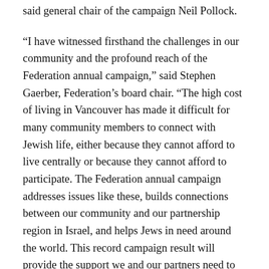said general chair of the campaign Neil Pollock.
“I have witnessed firsthand the challenges in our community and the profound reach of the Federation annual campaign,” said Stephen Gaerber, Federation’s board chair. “The high cost of living in Vancouver has made it difficult for many community members to connect with Jewish life, either because they cannot afford to live centrally or because they cannot afford to participate. The Federation annual campaign addresses issues like these, builds connections between our community and our partnership region in Israel, and helps Jews in need around the world. This record campaign result will provide the support we and our partners need to touch more lives than ever before.”
The face-to-face incentive was one of the keys to this year’s success. It encouraged donors to meet in